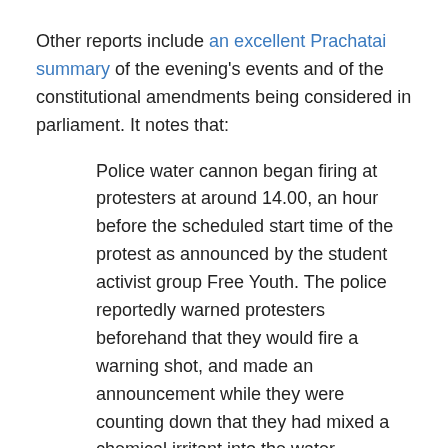Other reports include an excellent Prachatai summary of the evening's events and of the constitutional amendments being considered in parliament. It notes that:
Police water cannon began firing at protesters at around 14.00, an hour before the scheduled start time of the protest as announced by the student activist group Free Youth. The police reportedly warned protesters beforehand that they would fire a warning shot, and made an announcement while they were counting down that they had mixed a chemical irritant into the water….
At 19.44, after almost 6 hours of struggle, during which the police continuously fired water cannon and tear gas at protesters at both the Bang Krabue